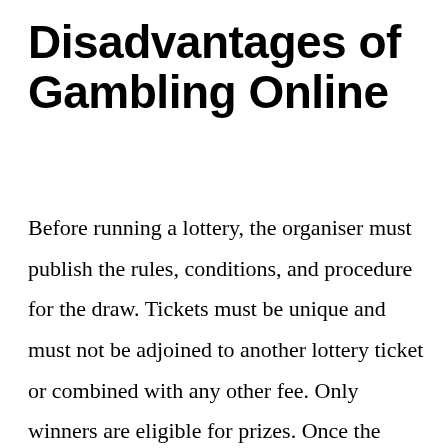Disadvantages of Gambling Online
Before running a lottery, the organiser must publish the rules, conditions, and procedure for the draw. Tickets must be unique and must not be adjoined to another lottery ticket or combined with any other fee. Only winners are eligible for prizes. Once the lottery starts, no prize changes are allowed. The draw must take place …